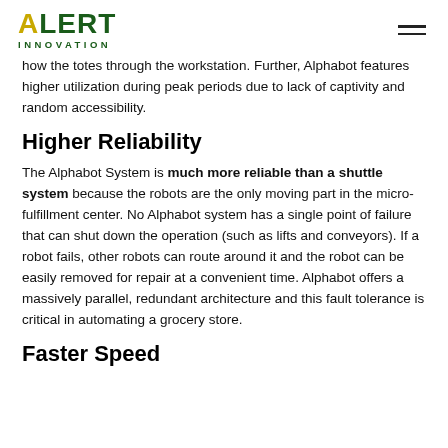ALERT INNOVATION
how the totes through the workstation. Further, Alphabot features higher utilization during peak periods due to lack of captivity and random accessibility.
Higher Reliability
The Alphabot System is much more reliable than a shuttle system because the robots are the only moving part in the micro-fulfillment center. No Alphabot system has a single point of failure that can shut down the operation (such as lifts and conveyors). If a robot fails, other robots can route around it and the robot can be easily removed for repair at a convenient time. Alphabot offers a massively parallel, redundant architecture and this fault tolerance is critical in automating a grocery store.
Faster Speed